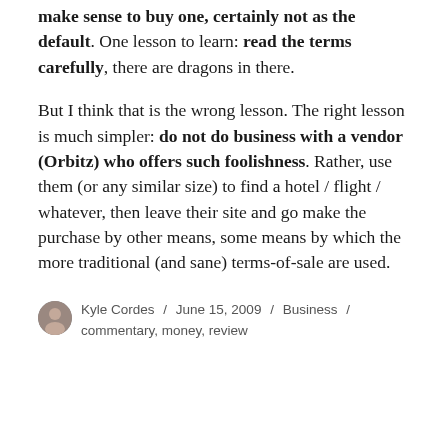make sense to buy one, certainly not as the default. One lesson to learn: read the terms carefully, there are dragons in there.
But I think that is the wrong lesson. The right lesson is much simpler: do not do business with a vendor (Orbitz) who offers such foolishness. Rather, use them (or any similar size) to find a hotel / flight / whatever, then leave their site and go make the purchase by other means, some means by which the more traditional (and sane) terms-of-sale are used.
Kyle Cordes / June 15, 2009 / Business / commentary, money, review